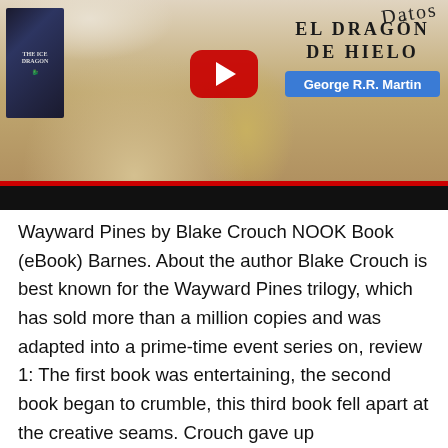[Figure (screenshot): YouTube video thumbnail showing a woman with long blonde hair holding a book 'The Ice Dragon' and a pug dog. A YouTube play button is centered. On the right side text reads 'EL DRAGÓN DE HIELO' and 'George R.R. Martin' in a blue badge. A signature appears at the top right. A red bar and black bar appear at the bottom of the thumbnail.]
Wayward Pines by Blake Crouch NOOK Book (eBook) Barnes. About the author Blake Crouch is best known for the Wayward Pines trilogy, which has sold more than a million copies and was adapted into a prime-time event series on, review 1: The first book was entertaining, the second book began to crumble, this third book fell apart at the creative seams. Crouch gave up